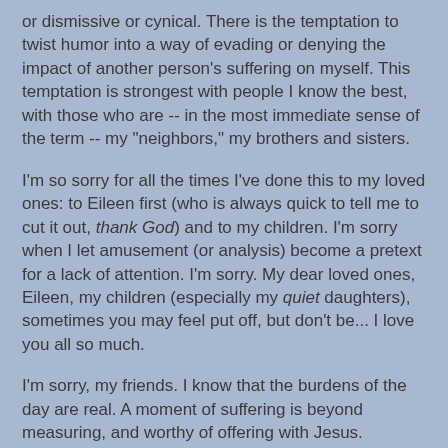or dismissive or cynical. There is the temptation to twist humor into a way of evading or denying the impact of another person's suffering on myself. This temptation is strongest with people I know the best, with those who are -- in the most immediate sense of the term -- my "neighbors," my brothers and sisters.
I'm so sorry for all the times I've done this to my loved ones: to Eileen first (who is always quick to tell me to cut it out, thank God) and to my children. I'm sorry when I let amusement (or analysis) become a pretext for a lack of attention. I'm sorry. My dear loved ones, Eileen, my children (especially my quiet daughters), sometimes you may feel put off, but don't be... I love you all so much.
I'm sorry, my friends. I know that the burdens of the day are real. A moment of suffering is beyond measuring, and worthy of offering with Jesus. Precisely that one moment holds a mystery of suffering that encompasses your personal pain and your own cry for God. I always want to respect you, and live in compassion, to join with you in the loneliness of pain.